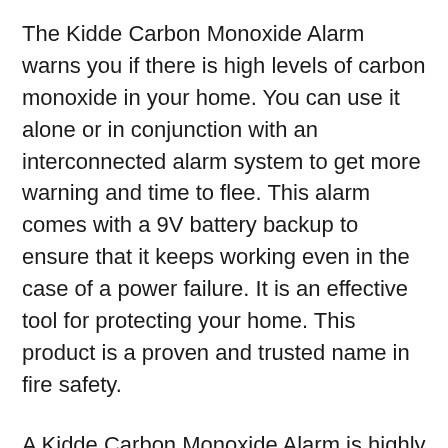The Kidde Carbon Monoxide Alarm warns you if there is high levels of carbon monoxide in your home. You can use it alone or in conjunction with an interconnected alarm system to get more warning and time to flee. This alarm comes with a 9V battery backup to ensure that it keeps working even in the case of a power failure. It is an effective tool for protecting your home. This product is a proven and trusted name in fire safety.
A Kidde Carbon Monoxide Alarm is highly effective at detecting dangerous gases and fire calamities. These units are complexly designed to detect these hazards without a smell. They can even give you voice alerts, so that your family and friends will be notified if a fire breaks out. Visit the Kidde